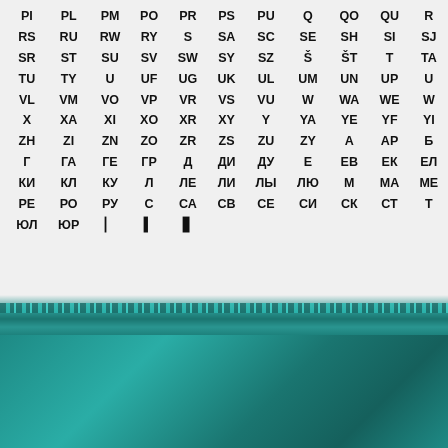| PI | PL | PM | PO | PR | PS | PU | Q | QO | QU | R |
| RS | RU | RW | RY | S | SA | SC | SE | SH | SI | SJ |
| SR | ST | SU | SV | SW | SY | SZ | Š | ŠT | T | TA |
| TU | TY | U | UF | UG | UK | UL | UM | UN | UP | U |
| VL | VM | VO | VP | VR | VS | VU | W | WA | WE | W |
| X | XA | XI | XO | XR | XY | Y | YA | YE | YF | YI | Y |
| ZH | ZI | ZN | ZO | ZR | ZS | ZU | ZY | A | AP | Б | Б |
| Г | ГА | ГЕ | ГР | Д | ДИ | ДУ | Е | ЕВ | ЕК | ЕЛ | З |
| КИ | КЛ | КУ | Л | ЛЕ | ЛИ | ЛЫ | ЛЮ | М | МА | МЕ |
| РЕ | РО | РУ | С | СА | СВ | СЕ | СИ | СК | СТ | Т |
| ЮЛ | ЮР | □ | □ | □□ |
Links
>> Art gallery home
>> Buy Art
>> All Artists
>> All Styles